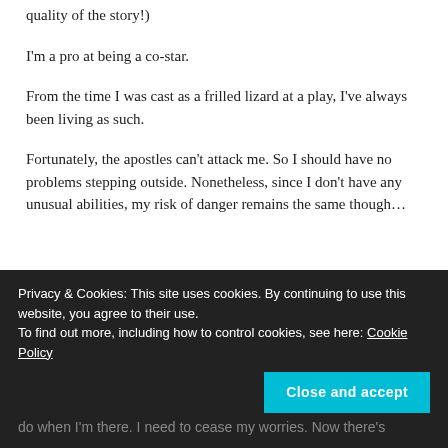quality of the story!)
I'm a pro at being a co-star.
From the time I was cast as a frilled lizard at a play, I've always been living as such.
Fortunately, the apostles can't attack me. So I should have no problems stepping outside. Nonetheless, since I don't have any unusual abilities, my risk of danger remains the same though…
Privacy & Cookies: This site uses cookies. By continuing to use this website, you agree to their use. To find out more, including how to control cookies, see here: Cookie Policy
do when I'm there. I need to cease my worries. Now there's